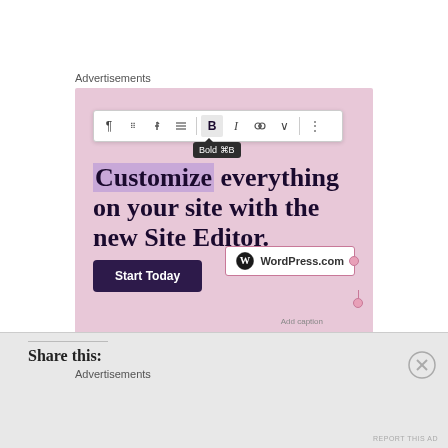Advertisements
[Figure (screenshot): WordPress.com advertisement screenshot showing a pink/mauve colored ad with a text editor toolbar at top with Bold (⌘B) tooltip visible. Large serif text reads 'Customize everything on your site with the new Site Editor.' with 'Customize' highlighted. A dark purple 'Start Today' button appears below. WordPress.com logo in a bordered box at bottom right with selection handles. 'Add caption' text below the logo box. 'REPORT THIS AD' text at bottom right.]
Share this:
Advertisements